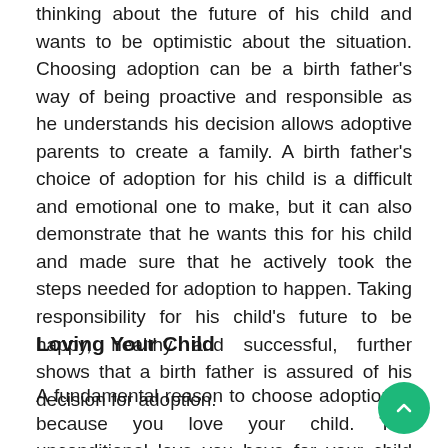thinking about the future of his child and wants to be optimistic about the situation. Choosing adoption can be a birth father's way of being proactive and responsible as he understands his decision allows adoptive parents to create a family. A birth father's choice of adoption for his child is a difficult and emotional one to make, but it can also demonstrate that he wants this for his child and made sure that he actively took the steps needed for adoption to happen. Taking responsibility for his child's future to be happy, healthy and successful, further shows that a birth father is assured of his decision for adoption.
Loving Your Child
A fundamental reason to choose adoption is because you love your child. The unconditional love you have for your child allows you to acknowledge and realize that you want the best for him or her.